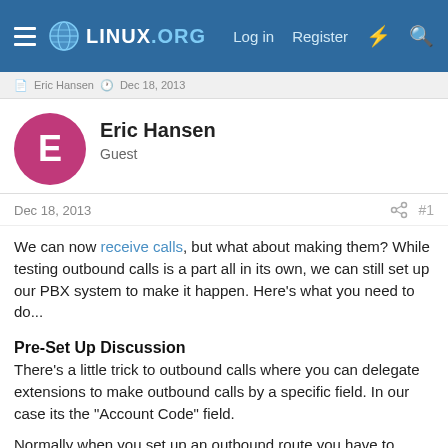LINUX.ORG  Log in  Register
Eric Hansen  Dec 18, 2013
Eric Hansen
Guest
Dec 18, 2013  #1
We can now receive calls, but what about making them? While testing outbound calls is a part all in its own, we can still set up our PBX system to make it happen. Here's what you need to do...
Pre-Set Up Discussion
There's a little trick to outbound calls where you can delegate extensions to make outbound calls by a specific field. In our case its the "Account Code" field.
Normally when you set up an outbound route you have to specify what profile you're using. However, if you use any of FreeSWITCH's variable fields (i.e. $account_code) you can